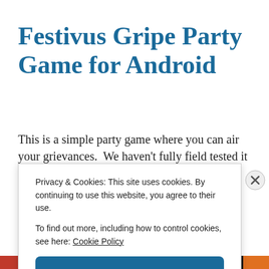Festivus Gripe Party Game for Android
This is a simple party game where you can air your grievances.  We haven't fully field tested it yet but hopefully
Privacy & Cookies: This site uses cookies. By continuing to use this website, you agree to their use.
To find out more, including how to control cookies, see here: Cookie Policy
Close and accept